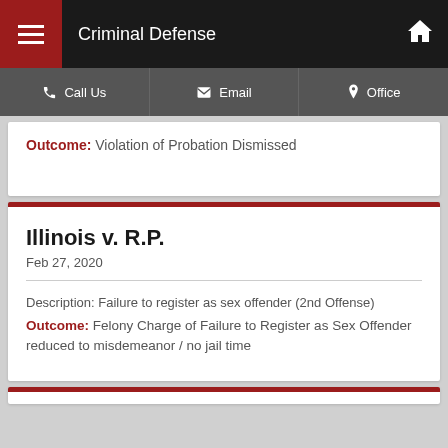Criminal Defense
Outcome: Violation of Probation Dismissed
Illinois v. R.P.
Feb 27, 2020
Description: Failure to register as sex offender (2nd Offense)
Outcome: Felony Charge of Failure to Register as Sex Offender reduced to misdemeanor / no jail time